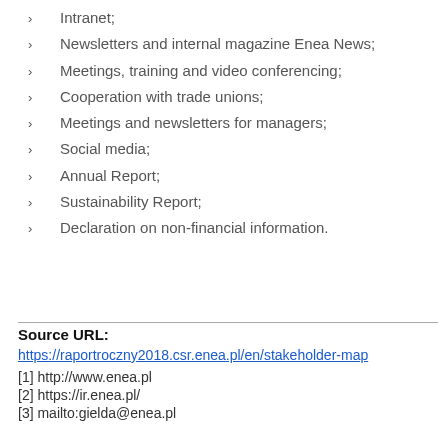Intranet;
Newsletters and internal magazine Enea News;
Meetings, training and video conferencing;
Cooperation with trade unions;
Meetings and newsletters for managers;
Social media;
Annual Report;
Sustainability Report;
Declaration on non-financial information.
Source URL:
https://raportroczny2018.csr.enea.pl/en/stakeholder-map
[1] http://www.enea.pl
[2] https://ir.enea.pl/
[3] mailto:gielda@enea.pl